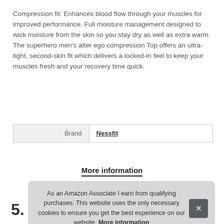Compression fit: Enhances blood flow through your muscles for improved performance. Full moisture management designed to wick moisture from the skin so you stay dry as well as extra warm. The superhero men's alter ego compression Top offers an ultra-tight, second-skin fit which delivers a locked-in feel to keep your muscles fresh and your recovery time quick.
| Brand | Nessfit |
| --- | --- |
More information
As an Amazon Associate I earn from qualifying purchases. This website uses the only necessary cookies to ensure you get the best experience on our website. More information
5.